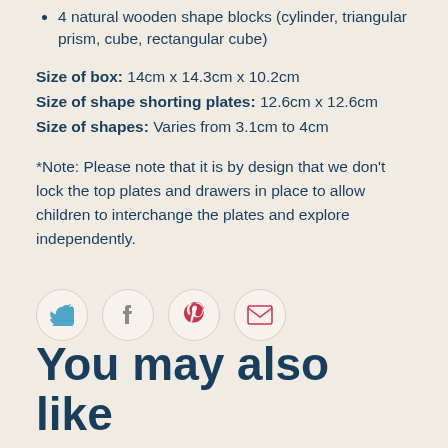4 natural wooden shape blocks (cylinder, triangular prism, cube, rectangular cube)
Size of box: 14cm x 14.3cm x 10.2cm
Size of shape shorting plates: 12.6cm x 12.6cm
Size of shapes: Varies from 3.1cm to 4cm
*Note: Please note that it is by design that we don't lock the top plates and drawers in place to allow children to interchange the plates and explore independently.
[Figure (infographic): Four social sharing icon buttons in circles: Twitter (blue bird), Facebook (grey f), Pinterest (red P), Email (red envelope)]
You may also like